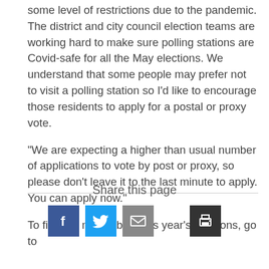some level of restrictions due to the pandemic. The district and city council election teams are working hard to make sure polling stations are Covid-safe for all the May elections. We understand that some people may prefer not to visit a polling station so I'd like to encourage those residents to apply for a postal or proxy vote.
"We are expecting a higher than usual number of applications to vote by post or proxy, so please don't leave it to the last minute to apply. You can apply now."
To find out more about this year's elections, go to
Share this page